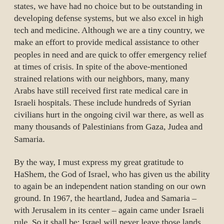states, we have had no choice but to be outstanding in developing defense systems, but we also excel in high tech and medicine. Although we are a tiny country, we make an effort to provide medical assistance to other peoples in need and are quick to offer emergency relief at times of crisis. In spite of the above-mentioned strained relations with our neighbors, many, many Arabs have still received first rate medical care in Israeli hospitals. These include hundreds of Syrian civilians hurt in the ongoing civil war there, as well as many thousands of Palestinians from Gaza, Judea and Samaria.
By the way, I must express my great gratitude to HaShem, the God of Israel, who has given us the ability to again be an independent nation standing on our own ground. In 1967, the heartland, Judea and Samaria – with Jerusalem in its center – again came under Israeli rule. So it shall be: Israel will never leave those lands again. Judea and Samaria will always be a part of the State of Israel on the same standing with the Galil and Negev.